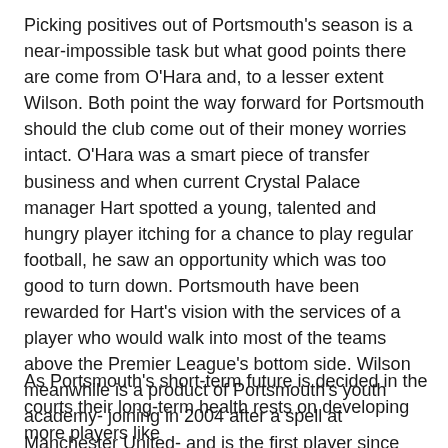Picking positives out of Portsmouth's season is a near-impossible task but what good points there are come from O'Hara and, to a lesser extent Wilson. Both point the way forward for Portsmouth should the club come out of their money worries intact. O'Hara was a smart piece of transfer business and when current Crystal Palace manager Hart spotted a young, talented and hungry player itching for a chance to play regular football, he saw an opportunity which was too good to turn down. Portsmouth have been rewarded for Hart's vision with the services of a player who would walk into most of the teams above the Premier League's bottom side. Wilson meanwhile is a product of Portsmouth's youth academy- joining in 2004 after a spell at Manchester United- and is the first player since Gary O'Neil to come through the Pompey set-up and into the Premier League.
As Portsmouth's short-term future is decided in the courts their long-term health rests on developing more players like